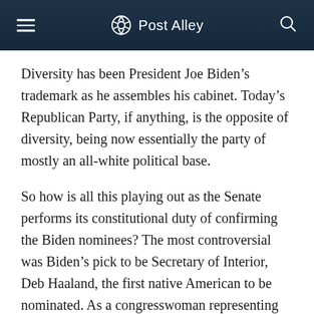Post Alley
Diversity has been President Joe Biden’s trademark as he assembles his cabinet. Today’s Republican Party, if anything, is the opposite of diversity, being now essentially the party of mostly an all-white political base.
So how is all this playing out as the Senate performs its constitutional duty of confirming the Biden nominees?  The most controversial was Biden’s pick to be Secretary of Interior, Deb Haaland, the first native American to be nominated.  As a congresswoman representing New Mexico, her public record on land-use issues raised concerns among the Senate Republicans, who voted against her with four